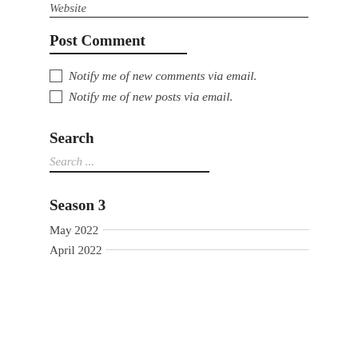Website
Post Comment
Notify me of new comments via email.
Notify me of new posts via email.
Search
Search ...
Season 3
May 2022
April 2022